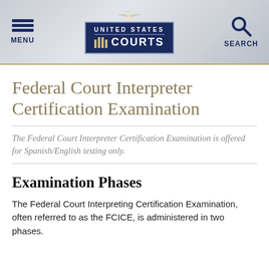MENU | UNITED STATES COURTS | SEARCH
Federal Court Interpreter Certification Examination
The Federal Court Interpreter Certification Examination is offered for Spanish/English testing only.
Examination Phases
The Federal Court Interpreting Certification Examination, often referred to as the FCICE, is administered in two phases.